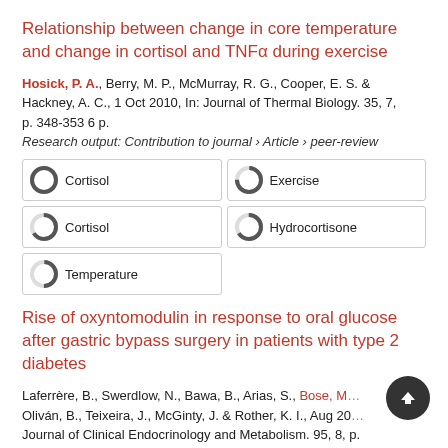Relationship between change in core temperature and change in cortisol and TNFα during exercise
Hosick, P. A., Berry, M. P., McMurray, R. G., Cooper, E. S. & Hackney, A. C., 1 Oct 2010, In: Journal of Thermal Biology. 35, 7, p. 348-353 6 p.
Research output: Contribution to journal › Article › peer-review
[Figure (infographic): Five keyword badges arranged in a 2x2 grid with one extra: Cortisol (100%), Exercise (75%), Cortisol (66%), Hydrocortisone (66%), Temperature (50%)]
Rise of oxyntomodulin in response to oral glucose after gastric bypass surgery in patients with type 2 diabetes
Laferrère, B., Swerdlow, N., Bawa, B., Arias, S., Bose, M., Oliván, B., Teixeira, J., McGinty, J. & Rother, K. I., Aug 20... Journal of Clinical Endocrinology and Metabolism. 95, 8, p. 4072-4076 5...